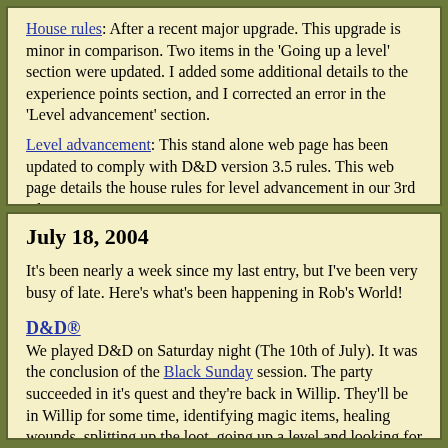House rules: After a recent major upgrade. This upgrade is minor in comparison. Two items in the 'Going up a level' section were updated. I added some additional details to the experience points section, and I corrected an error in the 'Level advancement' section.
Level advancement: This stand alone web page has been updated to comply with D&D version 3.5 rules. This web page details the house rules for level advancement in our 3rd edition camapaign.
July 18, 2004
It's been nearly a week since my last entry, but I've been very busy of late. Here's what's been happening in Rob's World!
D&D® We played D&D on Saturday night (The 10th of July). It was the conclusion of the Black Sunday session. The party succeeded in it's quest and they're back in Willip. They'll be in Willip for some time, identifying magic items, healing wounds, splitting up the loot, going up a level and looking for new recruits. The following D&D documents and web pages were recently updated.